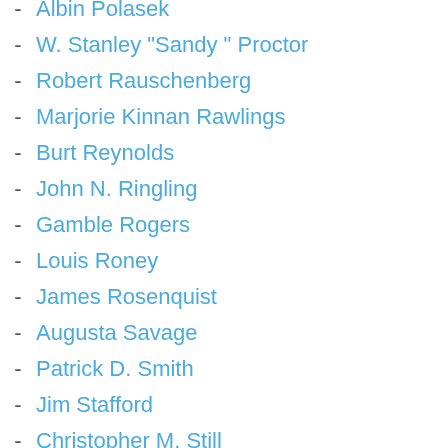- Albin Polasek
- W. Stanley "Sandy" Proctor
- Robert Rauschenberg
- Marjorie Kinnan Rawlings
- Burt Reynolds
- John N. Ringling
- Gamble Rogers
- Louis Roney
- James Rosenquist
- Augusta Savage
- Patrick D. Smith
- Jim Stafford
- Christopher M. Still
- Mel Tillis